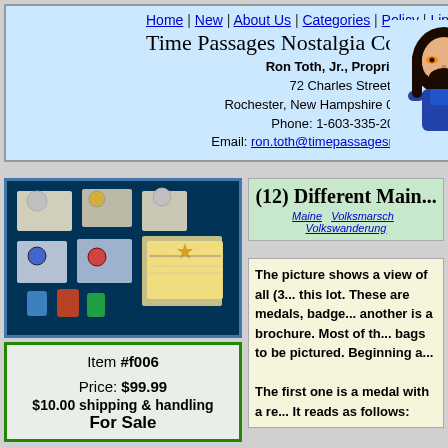Home | New | About Us | Categories | Policy | Links
Time Passages Nostalgia Company
Ron Toth, Jr., Proprietor
72 Charles Street
Rochester, New Hampshire 03867-3413
Phone: 1-603-335-2062
Email: ron.toth@timepassagesnostalgia.com
[Figure (illustration): Cartoon character of a man with long dark hair, beard, orange sunglasses, holding a ball, wearing blue overalls]
Search for:
Select from:
Show:
[Figure (other): Gold/yellow triangular play button graphic]
[Figure (photo): Photo of various Volksmarsch medals, badges, pins, and a brochure laid out on a dark background]
Item #f006

Price: $99.99
$10.00 shipping & handling
For Sale
(12) Different Main...
Maine  Volksmarsch  Volkswanderung
The picture shows a view of all (3... this lot. These are medals, badge... another is a brochure. Most of th... bags to be pictured. Beginning a...

The first one is a medal with a re... It reads as follows: